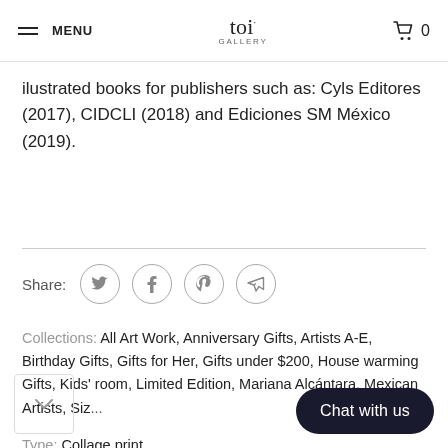MENU | toi GALLERY | 0
ilustrated books for publishers such as: Cyls Editores (2017), CIDCLI (2018) and Ediciones SM México (2019).
Share: [twitter] [facebook] [pinterest] [send]
Collections: All Art Work, Anniversary Gifts, Artists A-E, Birthday Gifts, Gifts for Her, Gifts under $200, House warming Gifts, Kids' room, Limited Edition, Mariana Alcántara, Mexican Artists, Size...
Type: Collage print